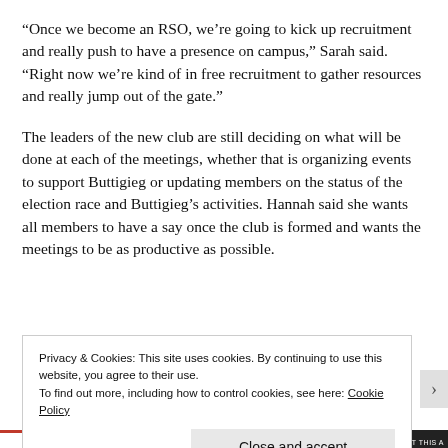“Once we become an RSO, we’re going to kick up recruitment and really push to have a presence on campus,” Sarah said. “Right now we’re kind of in free recruitment to gather resources and really jump out of the gate.”
The leaders of the new club are still deciding on what will be done at each of the meetings, whether that is organizing events to support Buttigieg or updating members on the status of the election race and Buttigieg’s activities. Hannah said she wants all members to have a say once the club is formed and wants the meetings to be as productive as possible.
Privacy & Cookies: This site uses cookies. By continuing to use this website, you agree to their use.
To find out more, including how to control cookies, see here: Cookie Policy